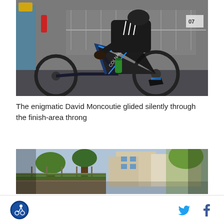[Figure (photo): Close-up photo of a cyclist on a black and blue road bicycle (Colnago brand visible), the rider wearing black fingerless gloves and cycling shoes, with a green water bottle in the cage, metal crowd barriers visible in background, spectators partially visible]
The enigmatic David Moncoutie glided silently through the finish-area throng
[Figure (photo): Outdoor scene with trees in the foreground, buildings in the background, appears to be a street or town setting]
Cycling logo icon, Twitter bird icon, Facebook f icon